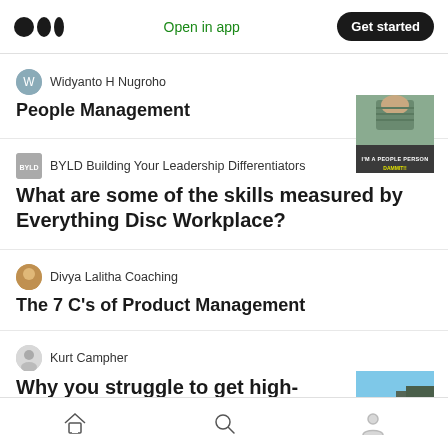Medium app header — Open in app | Get started
Widyanto H Nugroho
People Management
BYLD Building Your Leadership Differentiators
What are some of the skills measured by Everything Disc Workplace?
Divya Lalitha Coaching
The 7 C's of Product Management
Kurt Campher
Why you struggle to get high-value tech
Home | Search | Profile